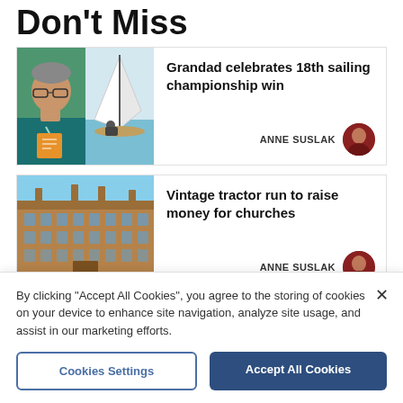Don't Miss
[Figure (photo): Two-panel photo: left panel shows a man with glasses in a teal shirt holding papers outdoors; right panel shows a sailboat on water with a person sailing.]
Grandad celebrates 18th sailing championship win
ANNE SUSLAK
[Figure (photo): Photo of a large brick historic building (Hampton Court style) with green lawn and blue sky.]
Vintage tractor run to raise money for churches
ANNE SUSLAK
By clicking “Accept All Cookies”, you agree to the storing of cookies on your device to enhance site navigation, analyze site usage, and assist in our marketing efforts.